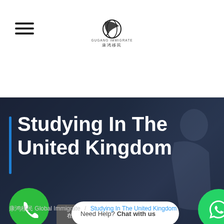[Figure (logo): GP Global Immigrate logo with feather/pen icon and Chinese characters below]
Studying In The United Kingdom
康鸿移民 Global Immigrate / Studying In The United Kingdom
[Figure (other): Green phone call button circle on bottom left]
[Figure (other): Gray button with Chinese characters]
[Figure (other): Chat popup: Need Help? Chat with us]
[Figure (other): Green WhatsApp button circle on bottom right]